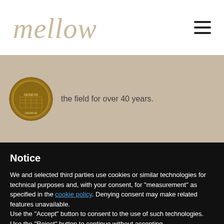[Figure (logo): Mellow logo in tan/beige cursive script]
the field for over 40 years.
[Figure (illustration): Bronze coin with Geneva (Geneve) city emblem]
Notice
We and selected third parties use cookies or similar technologies for technical purposes and, with your consent, for “measurement” as specified in the cookie policy. Denying consent may make related features unavailable.
Use the “Accept” button to consent to the use of such technologies. Use the “Reject” button to continue without accepting.
Reject
Accept
Learn more and customize